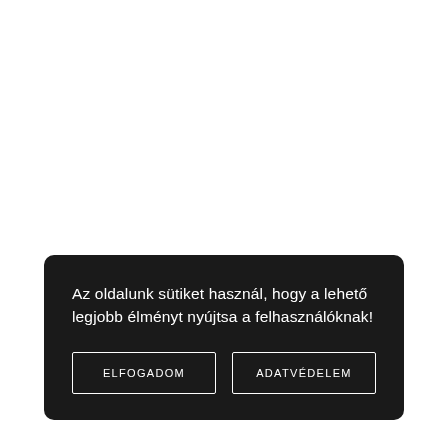Az oldalunk sütiket használ, hogy a lehető legjobb élményt nyújtsa a felhasználóknak!
ELFOGADOM
ADATVÉDELEM